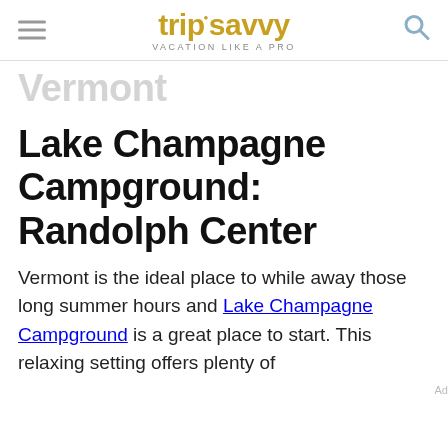tripsavvy VACATION LIKE A PRO
Vermont
Lake Champagne Campground: Randolph Center
Vermont is the ideal place to while away those long summer hours and Lake Champagne Campground is a great place to start. This relaxing setting offers plenty of